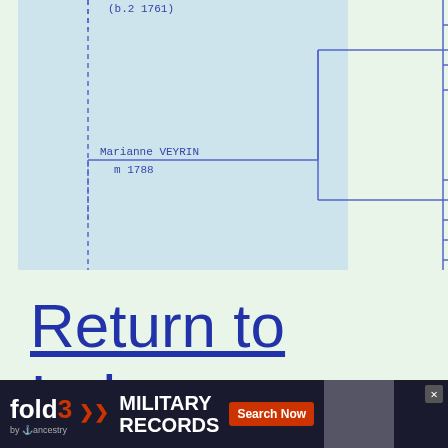[Figure (other): Genealogy pedigree/family tree chart (partial view). Shows 'Marianne VEYRIN m 1788' in a box on the left side connected by lines to boxes on the right side. The chart uses dashed and solid blue lines to connect family members. Background is light blue for the chart area.]
Return to Index
[Figure (other): Advertisement banner for fold3 by Ancestry - Military Records, Search Now button, with image of soldier]